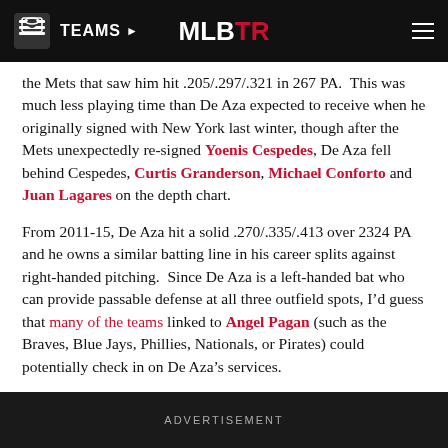TEAMS | MLBTR
the Mets that saw him hit .205/.297/.321 in 267 PA.  This was much less playing time than De Aza expected to receive when he originally signed with New York last winter, though after the Mets unexpectedly re-signed Yoenis Cespedes, De Aza fell behind Cespedes, Curtis Granderson, Michael Conforto and Juan Lagares on the depth chart.
From 2011-15, De Aza hit a solid .270/.335/.413 over 2324 PA and he owns a similar batting line in his career splits against right-handed pitching.  Since De Aza is a left-handed bat who can provide passable defense at all three outfield spots, I’d guess that many of the teams linked to Angel Pagan (such as the Braves, Blue Jays, Phillies, Nationals, or Pirates) could potentially check in on De Aza’s services.
ADVERTISEMENT